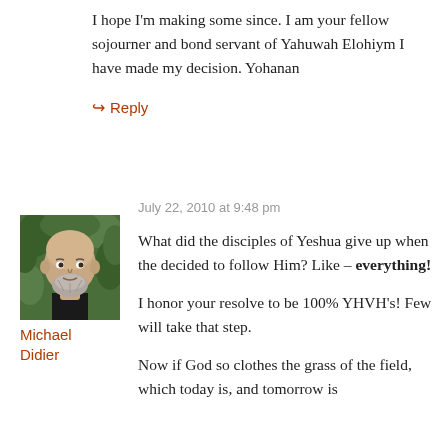I hope I'm making some since. I am your fellow sojourner and bond servant of Yahuwah Elohiym I have made my decision. Yohanan
↳ Reply
July 22, 2010 at 9:48 pm
[Figure (photo): Profile photo of Michael Didier: bald man with grey beard against green foliage background]
Michael Didier
What did the disciples of Yeshua give up when the decided to follow Him? Like – everything!
I honor your resolve to be 100% YHVH's! Few will take that step.
Now if God so clothes the grass of the field, which today is, and tomorrow is